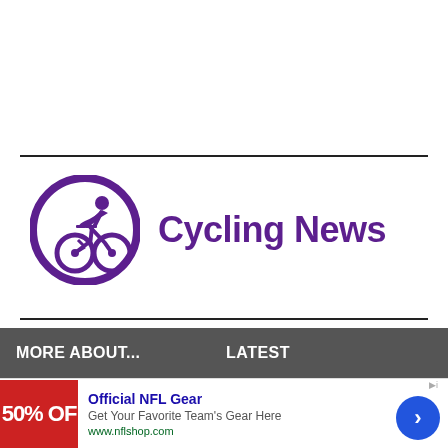[Figure (logo): Cycling News logo: purple circle with white cyclist silhouette icon, accompanied by bold purple text 'Cycling News']
MORE ABOUT...
LATEST
[Figure (infographic): Advertisement banner: red image with '50% OF' text, Official NFL Gear ad with title, subtitle 'Get Your Favorite Team's Gear Here', URL www.nflshop.com, and blue arrow button]